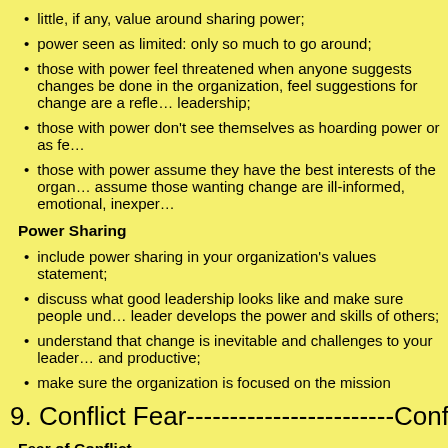little, if any, value around sharing power;
power seen as limited: only so much to go around;
those with power feel threatened when anyone suggests changes be done in the organization, feel suggestions for change are a reflection on leadership;
those with power don't see themselves as hoarding power or as fe…
those with power assume they have the best interests of the organization, assume those wanting change are ill-informed, emotional, inexperienced…
Power Sharing
include power sharing in your organization's values statement;
discuss what good leadership looks like and make sure people understand a good leader develops the power and skills of others;
understand that change is inevitable and challenges to your leadership can be healthy and productive;
make sure the organization is focused on the mission
9. Conflict Fear-------------------------Conflict Appreciation
Fear of Conflict